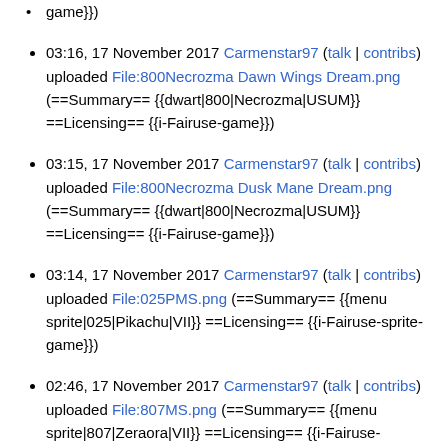game}})
03:16, 17 November 2017 Carmenstar97 (talk | contribs) uploaded File:800Necrozma Dawn Wings Dream.png (==Summary== {{dwart|800|Necrozma|USUM}} ==Licensing== {{i-Fairuse-game}})
03:15, 17 November 2017 Carmenstar97 (talk | contribs) uploaded File:800Necrozma Dusk Mane Dream.png (==Summary== {{dwart|800|Necrozma|USUM}} ==Licensing== {{i-Fairuse-game}})
03:14, 17 November 2017 Carmenstar97 (talk | contribs) uploaded File:025PMS.png (==Summary== {{menu sprite|025|Pikachu|VII}} ==Licensing== {{i-Fairuse-sprite-game}})
02:46, 17 November 2017 Carmenstar97 (talk | contribs) uploaded File:807MS.png (==Summary== {{menu sprite|807|Zeraora|VII}} ==Licensing== {{i-Fairuse-